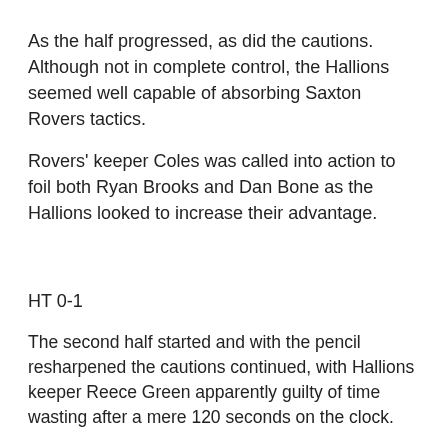As the half progressed, as did the cautions. Although not in complete control, the Hallions seemed well capable of absorbing Saxton Rovers tactics.
Rovers' keeper Coles was called into action to foil both Ryan Brooks and Dan Bone as the Hallions looked to increase their advantage.
HT 0-1
The second half started and with the pencil resharpened the cautions continued, with Hallions keeper Reece Green apparently guilty of time wasting after a mere 120 seconds on the clock.
In the 50th Liam Godin came to the Hallions rescue as he cleared off the goal line from a Patrick Mannix glancing effort.
Then in the 53rd somehow Saxton Rovers were gifted a penalty